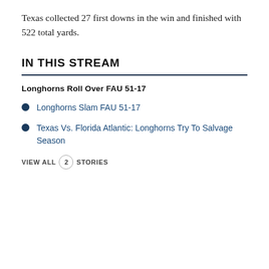Texas collected 27 first downs in the win and finished with 522 total yards.
IN THIS STREAM
Longhorns Roll Over FAU 51-17
Longhorns Slam FAU 51-17
Texas Vs. Florida Atlantic: Longhorns Try To Salvage Season
VIEW ALL 2 STORIES